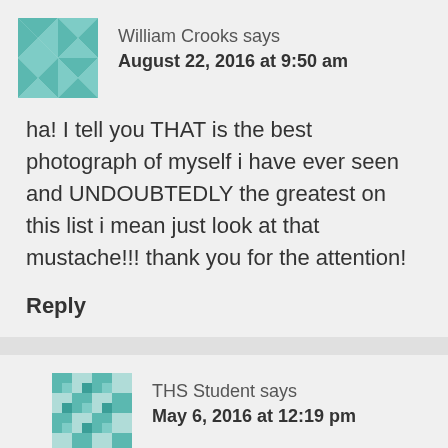[Figure (illustration): Teal/mint geometric avatar icon for William Crooks, quilt-like pattern]
William Crooks says
August 22, 2016 at 9:50 am
ha! I tell you THAT is the best photograph of myself i have ever seen and UNDOUBTEDLY the greatest on this list i mean just look at that mustache!!! thank you for the attention!
Reply
[Figure (illustration): Teal/mint geometric avatar icon for THS Student, checkerboard quilt pattern]
THS Student says
May 6, 2016 at 12:19 pm